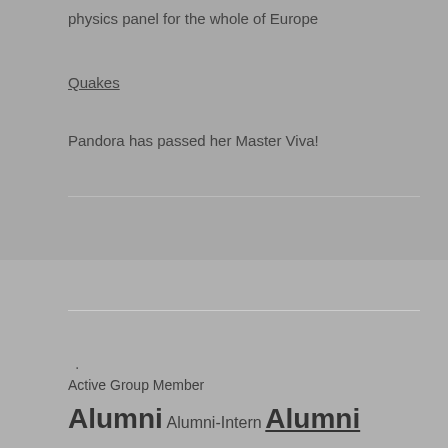physics panel for the whole of Europe
Quakes
Pandora has passed her Master Viva!
.
Active Group Member Alumni Alumni-Intern Alumni Master Student Alumni PhD Student Alumni Postdoc Alumni